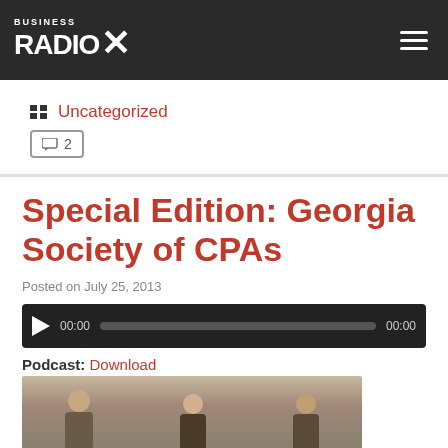Business Radio X
Uncategorized  2
Special Edition: Georgia Society of CPAs
Posted on July 25, 2013
[Figure (other): Audio player widget with play button, time display 00:00, progress bar, and end time 00:00]
Podcast: Download
[Figure (photo): Group photo of three people in a room, appearing to be at a radio show or event]